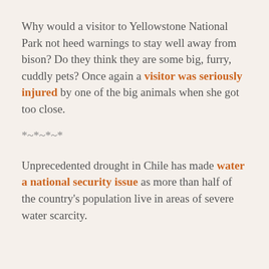Why would a visitor to Yellowstone National Park not heed warnings to stay well away from bison? Do they think they are some big, furry, cuddly pets? Once again a visitor was seriously injured by one of the big animals when she got too close.
*~*~*~*
Unprecedented drought in Chile has made water a national security issue as more than half of the country's population live in areas of severe water scarcity.